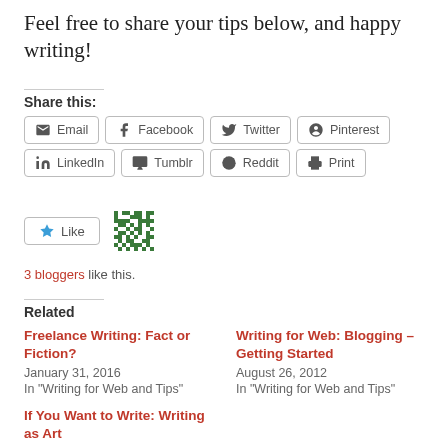Feel free to share your tips below, and happy writing!
Share this:
[Figure (other): Social sharing buttons: Email, Facebook, Twitter, Pinterest, LinkedIn, Tumblr, Reddit, Print]
[Figure (other): Like button with blue star icon and green avatar image]
3 bloggers like this.
Related
Freelance Writing: Fact or Fiction?
January 31, 2016
In "Writing for Web and Tips"
Writing for Web: Blogging – Getting Started
August 26, 2012
In "Writing for Web and Tips"
If You Want to Write: Writing as Art